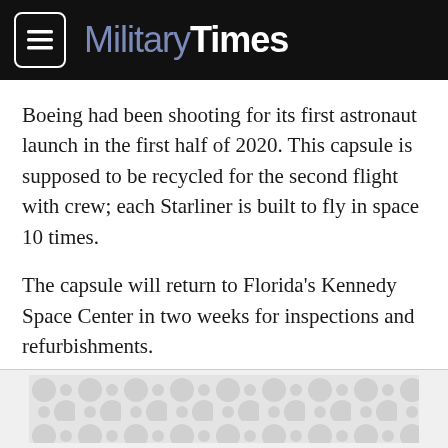Military Times
Boeing had been shooting for its first astronaut launch in the first half of 2020. This capsule is supposed to be recycled for the second flight with crew; each Starliner is built to fly in space 10 times.
The capsule will return to Florida’s Kennedy Space Center in two weeks for inspections and refurbishments.
“We’ve got a lot of learning in front of us,” Bridenstine said. “But we have enough information and data to where we can keep moving forward in a very positive way.
[Figure (other): Advertisement banner with repeating circular pattern on light grey background]